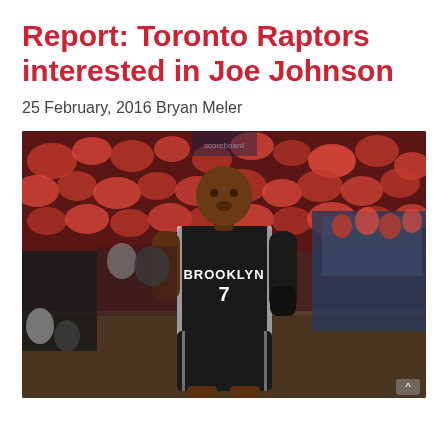Report: Toronto Raptors interested in Joe Johnson
25 February, 2016 Bryan Meler
[Figure (photo): Basketball player wearing Brooklyn Nets #7 black jersey standing on court with crowd in background wearing red attire]